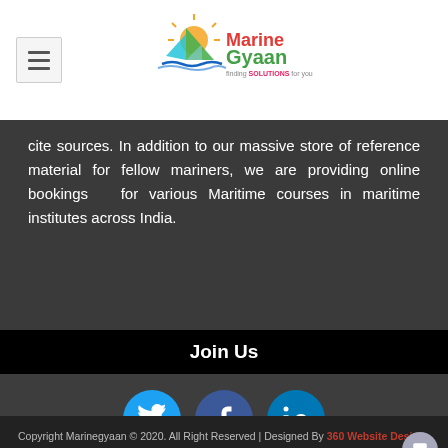[Figure (logo): Marine Gyaan logo with sailboat and sun, text 'Marine Gyaan finding SOLUTIONS for you']
cite sources. In addition to our massive store of reference material for fellow mariners, we are providing online bookings for various Maritime courses in maritime institutes across India.
Join Us
[Figure (illustration): Three social media icons: Twitter (blue circle), Facebook (dark blue circle), LinkedIn (blue circle)]
Copyright Marinegyaan © 2020. All Right Reserved | Designed By 360 Website Design